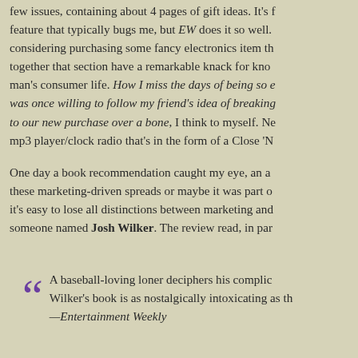few issues, containing about 4 pages of gift ideas. It's f feature that typically bugs me, but EW does it so well. considering purchasing some fancy electronics item th together that section have a remarkable knack for kno man's consumer life. How I miss the days of being so e was once willing to follow my friend's idea of breaking to our new purchase over a bone, I think to myself. Ne mp3 player/clock radio that's in the form of a Close 'N
One day a book recommendation caught my eye, an a these marketing-driven spreads or maybe it was part o it's easy to lose all distinctions between marketing and someone named Josh Wilker. The review read, in par
A baseball-loving loner deciphers his complic Wilker's book is as nostalgically intoxicating as th —Entertainment Weekly
There was no need for excruciating self-analysis and c lower corner dog ear on that page of the magazine (ie, placeholder one at the upper corner of where I left off